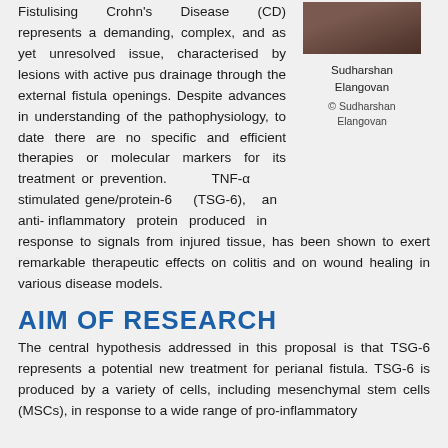Fistulising Crohn's Disease (CD) represents a demanding, complex, and as yet unresolved issue, characterised by lesions with active pus drainage through the external fistula openings. Despite advances in understanding of the pathophysiology, to date there are no specific and efficient therapies or molecular markers for its treatment or prevention. TNF-α stimulated gene/protein-6 (TSG-6), an anti-inflammatory protein produced in response to signals from injured tissue, has been shown to exert remarkable therapeutic effects on colitis and on wound healing in various disease models.
[Figure (photo): Portrait photo of Sudharshan Elangovan]
Sudharshan Elangovan
© Sudharshan Elangovan
AIM OF RESEARCH
The central hypothesis addressed in this proposal is that TSG-6 represents a potential new treatment for perianal fistula. TSG-6 is produced by a variety of cells, including mesenchymal stem cells (MSCs), in response to a wide range of pro-inflammatory